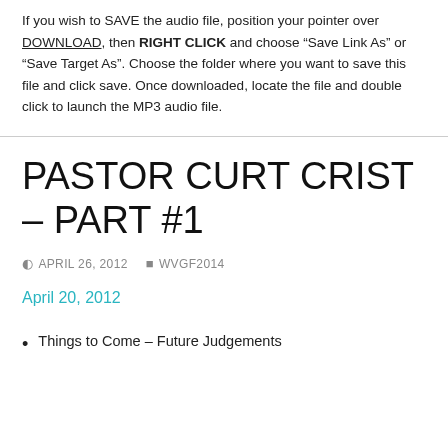If you wish to SAVE the audio file, position your pointer over DOWNLOAD, then RIGHT CLICK and choose “Save Link As” or “Save Target As”. Choose the folder where you want to save this file and click save. Once downloaded, locate the file and double click to launch the MP3 audio file.
PASTOR CURT CRIST – PART #1
APRIL 26, 2012  WVGF2014
April 20, 2012
Things to Come – Future Judgements